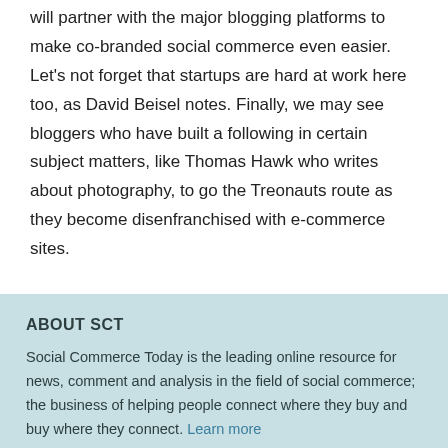will partner with the major blogging platforms to make co-branded social commerce even easier. Let's not forget that startups are hard at work here too, as David Beisel notes. Finally, we may see bloggers who have built a following in certain subject matters, like Thomas Hawk who writes about photography, to go the Treonauts route as they become disenfranchised with e-commerce sites.
ABOUT SCT
Social Commerce Today is the leading online resource for news, comment and analysis in the field of social commerce; the business of helping people connect where they buy and buy where they connect. Learn more